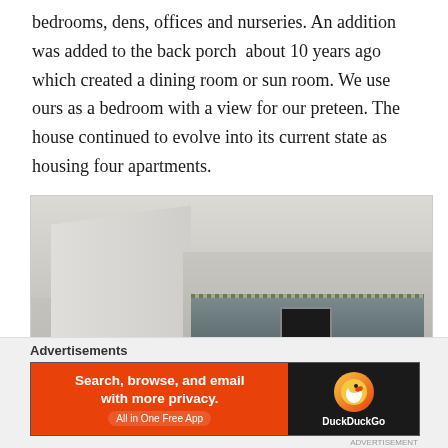bedrooms, dens, offices and nurseries. An addition was added to the back porch  about 10 years ago which created a dining room or sun room. We use ours as a bedroom with a view for our preteen. The house continued to evolve into its current state as housing four apartments.
[Figure (photo): Interior photograph showing a staircase area with white walls, a decorative border strip, and a small dark window on the back wall.]
Advertisements
[Figure (other): DuckDuckGo advertisement banner: 'Search, browse, and email with more privacy. All in One Free App' with DuckDuckGo logo on dark background.]